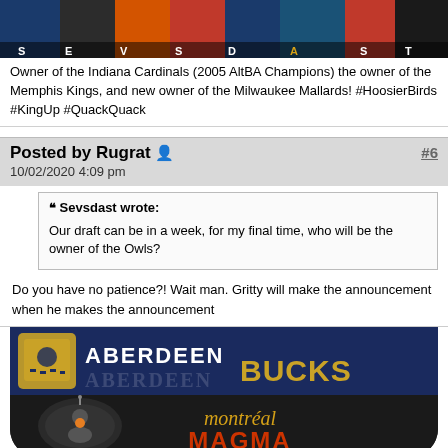[Figure (illustration): Sports team logos banner with text reading S E V S D A S T across the bottom]
Owner of the Indiana Cardinals (2005 AltBA Champions) the owner of the Memphis Kings, and new owner of the Milwaukee Mallards! #HoosierBirds #KingUp #QuackQuack
Posted by Rugrat [person icon] #6
10/02/2020 4:09 pm
❝ Sevsdast wrote:

Our draft can be in a week, for my final time, who will be the owner of the Owls?
Do you have no patience?! Wait man. Gritty will make the announcement when he makes the announcement
[Figure (illustration): Aberdeen Bucks banner in navy and gold]
[Figure (illustration): Montreal Magma dark rounded banner with puck icon and gold/red text]